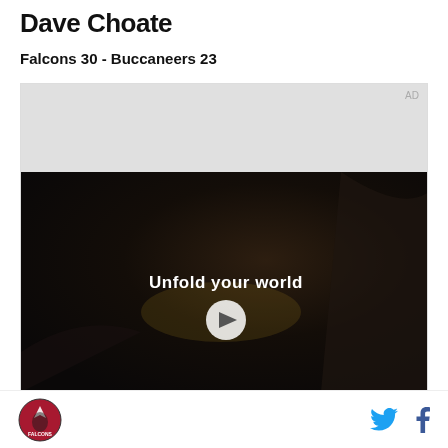Dave Choate
Falcons 30 - Buccaneers 23
[Figure (screenshot): Video advertisement placeholder with 'AD' label in top right corner. Gray area at top, then dark video frame showing a person holding a foldable phone in a car, with text 'Unfold your world' and a play button overlay.]
[Figure (logo): Atlanta Falcons logo circle, small, bottom left]
[Figure (other): Twitter bird icon (blue) and Facebook 'f' icon (dark blue) in bottom right footer area]